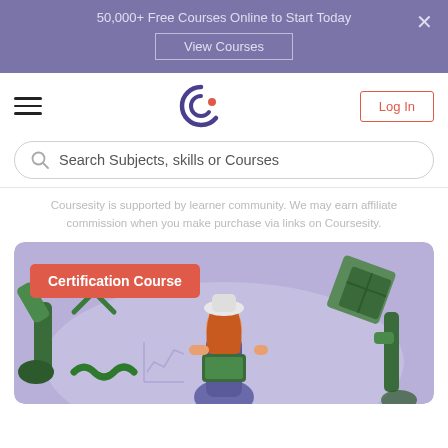50,000+ Free Courses Online to Start Today
View Courses
[Figure (logo): Coursesity logo - stylized letter C with orange dot]
Log In
Search Subjects, skills or Courses
Coursesity is supported by learner community. We may earn affiliate commission when you make purchase via links on Coursesity.
[Figure (illustration): Hero illustration showing a woman with red hair holding a laptop, surrounded by green robotic arms and a geometric green shape, with a red badge reading 'Certification Course']